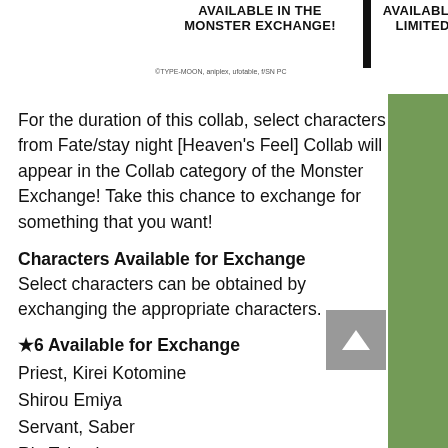AVAILABLE IN THE MONSTER EXCHANGE! | AVAILABLE FOR A LIMITED TIME!
For the duration of this collab, select characters from Fate/stay night [Heaven's Feel] Collab will appear in the Collab category of the Monster Exchange! Take this chance to exchange for something that you want!
Characters Available for Exchange
Select characters can be obtained by exchanging the appropriate characters.
★6 Available for Exchange
Priest, Kirei Kotomine
Shirou Emiya
Servant, Saber
Rin Tohsaka
Gilgamesh (Fate/stay night [HF])